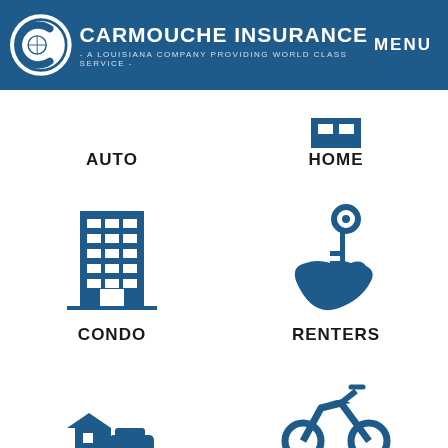[Figure (logo): Carmouche Insurance logo with C globe icon and text: CARMOUCHE INSURANCE - A LOUISIANA COMPANY PROVIDING WORLD CLASS SERVICE -]
CARMOUCHE INSURANCE
- A LOUISIANA COMPANY PROVIDING WORLD CLASS SERVICE -
MENU
[Figure (illustration): Auto insurance icon (partially visible at top)]
AUTO
[Figure (illustration): Home insurance icon (partially visible at top)]
HOME
[Figure (illustration): Condo insurance icon - tall building]
CONDO
[Figure (illustration): Renters insurance icon - hand holding key]
RENTERS
[Figure (illustration): Flood/auto insurance icon partially visible at bottom]
[Figure (illustration): Motorcycle insurance icon partially visible at bottom]